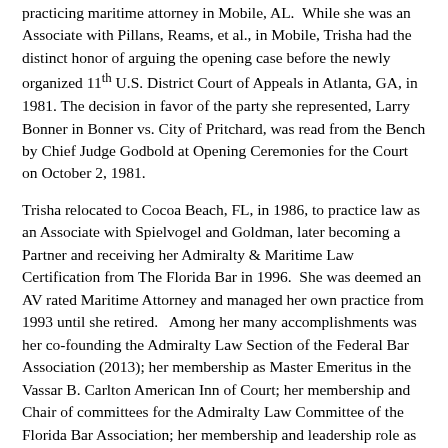practicing maritime attorney in Mobile, AL. While she was an Associate with Pillans, Reams, et al., in Mobile, Trisha had the distinct honor of arguing the opening case before the newly organized 11th U.S. District Court of Appeals in Atlanta, GA, in 1981. The decision in favor of the party she represented, Larry Bonner in Bonner vs. City of Pritchard, was read from the Bench by Chief Judge Godbold at Opening Ceremonies for the Court on October 2, 1981.
Trisha relocated to Cocoa Beach, FL, in 1986, to practice law as an Associate with Spielvogel and Goldman, later becoming a Partner and receiving her Admiralty & Maritime Law Certification from The Florida Bar in 1996. She was deemed an AV rated Maritime Attorney and managed her own practice from 1993 until she retired. Among her many accomplishments was her co-founding the Admiralty Law Section of the Federal Bar Association (2013); her membership as Master Emeritus in the Vassar B. Carlton American Inn of Court; her membership and Chair of committees for the Admiralty Law Committee of the Florida Bar Association; her membership and leadership role as Port Captain for the Southeastern Admiralty Law Institute; and her license to argue before the U. S. Supreme Court.
Aside from her professional accomplishments, Trisha had a deep love for the community she adopted as her home in 1986. Trisha nurtured lifelong friendships with a small group of professional